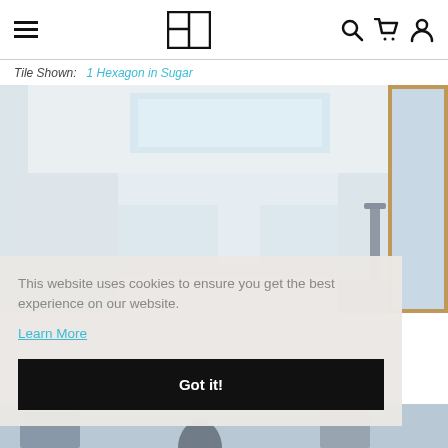Navigation bar with hamburger menu, logo, search, cart, and account icons
Tile Shown: 1 Hexagon in Sugar
[Figure (photo): Bright white modern bathroom with skylight, white walls, mirror with wood frame on right side, and chrome faucet]
This website uses cookies to ensure you get the best experience on our website.
Learn More
Got it!
[Figure (photo): Bottom strip showing partial bathroom items]